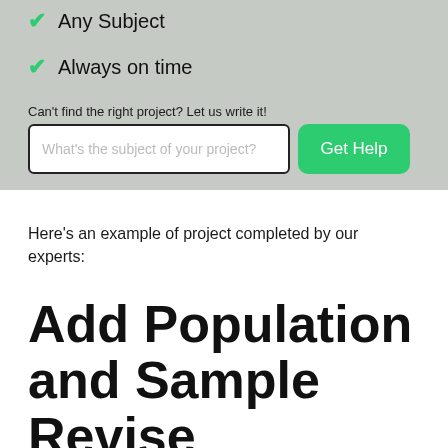Any Subject
Always on time
Can't find the right project? Let us write it!
What's the subject of your project?
Get Help
Here's an example of project completed by our experts:
Add Population and Sample Revise Research